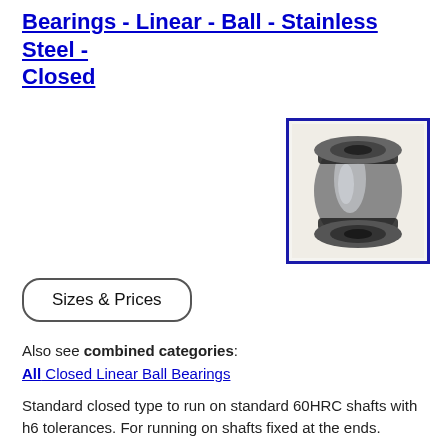Bearings - Linear - Ball - Stainless Steel - Closed
[Figure (photo): Photo of a closed linear ball bearing, cylindrical stainless steel component with black seals at each end, shown at an angle against a light background, framed with a blue border.]
Sizes & Prices
Also see combined categories:
All Closed Linear Ball Bearings
Standard closed type to run on standard 60HRC shafts with h6 tolerances. For running on shafts fixed at the ends.
Use with hardened precision ground shafting. Shaft